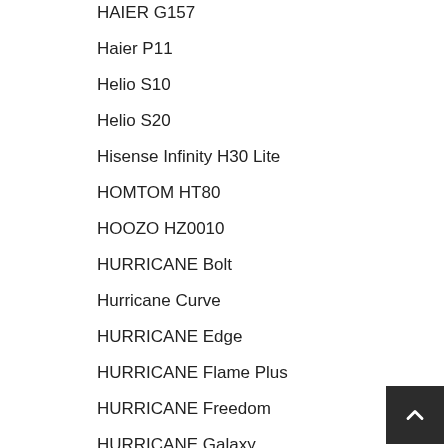HAIER G157
Haier P11
Helio S10
Helio S20
Hisense Infinity H30 Lite
HOMTOM HT80
HOOZO HZ0010
HURRICANE Bolt
Hurricane Curve
HURRICANE Edge
HURRICANE Flame Plus
HURRICANE Freedom
HURRICANE Galaxy
HURRICANE Icon
HURRICANE Ignite
HURRICANE Infinity
Hurricane Infinity